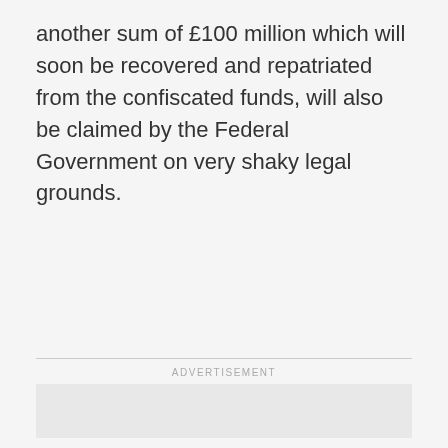another sum of £100 million which will soon be recovered and repatriated from the confiscated funds, will also be claimed by the Federal Government on very shaky legal grounds.
[Figure (other): Advertisement placeholder box — grey rectangle with 'ADVERTISEMENT' label above it]